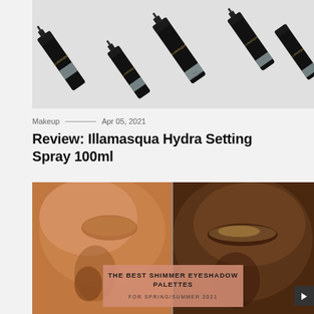[Figure (photo): Multiple Illamasqua Hydra Setting Spray 100ml bottles arranged diagonally on a white/light background, showing black bottles with gold branding]
Makeup — Apr 05, 2021
Review: Illamasqua Hydra Setting Spray 100ml
[Figure (photo): Split image of two close-up faces with shimmer eyeshadow, overlaid with a salmon-pink box reading 'THE BEST SHIMMER EYESHADOW PALETTES FOR SPRING/SUMMER 2021']